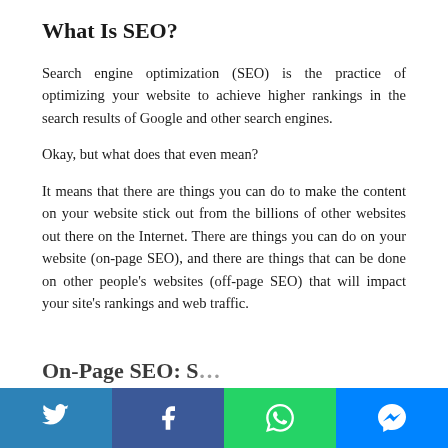What Is SEO?
Search engine optimization (SEO) is the practice of optimizing your website to achieve higher rankings in the search results of Google and other search engines.
Okay, but what does that even mean?
It means that there are things you can do to make the content on your website stick out from the billions of other websites out there on the Internet. There are things you can do on your website (on-page SEO), and there are things that can be done on other people’s websites (off-page SEO) that will impact your site’s rankings and web traffic.
On-Page SEO: Section header (partially visible)
[Figure (other): Social sharing bar with Twitter, Facebook, WhatsApp, and Messenger buttons]